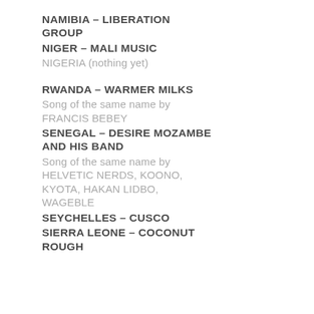NAMIBIA – LIBERATION GROUP
NIGER – MALI MUSIC
NIGERIA (nothing yet)
RWANDA – WARMER MILKS
Song of the same name by FRANCIS BEBEY
SENEGAL – DESIRE MOZAMBE AND HIS BAND
Song of the same name by HELVETIC NERDS, KOONO, KYOTA, HAKAN LIDBO, WAGEBLE
SEYCHELLES – CUSCO
SIERRA LEONE – COCONUT ROUGH